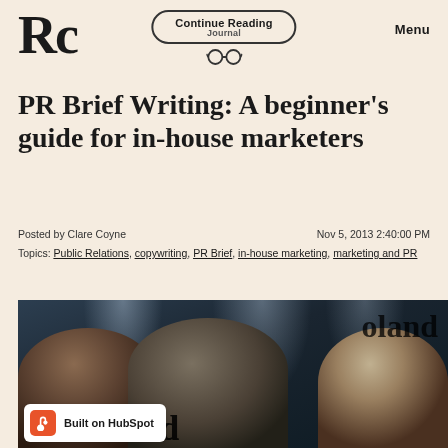Rc | Continue Reading Journal | Menu
PR Brief Writing: A beginner's guide for in-house marketers
Posted by Clare Coyne    Nov 5, 2013 2:40:00 PM
Topics: Public Relations, copywriting, PR Brief, in-house marketing, marketing and PR
[Figure (photo): Conference room photo with people seated at a table, spotlights overhead. Overlay text reads 'Dronsfield' and 'oland'. HubSpot badge in bottom left corner.]